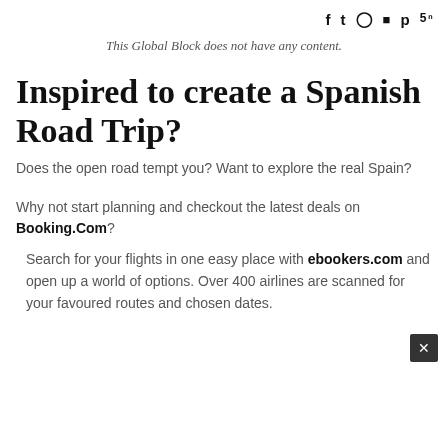Social media icons: f (Facebook), Twitter, Instagram, YouTube, Pinterest, Flipboard
This Global Block does not have any content.
Inspired to create a Spanish Road Trip?
Does the open road tempt you? Want to explore the real Spain?
Why not start planning and checkout the latest deals on Booking.Com?
Search for your flights in one easy place with ebookers.com and open up a world of options. Over 400 airlines are scanned for your favoured routes and chosen dates.